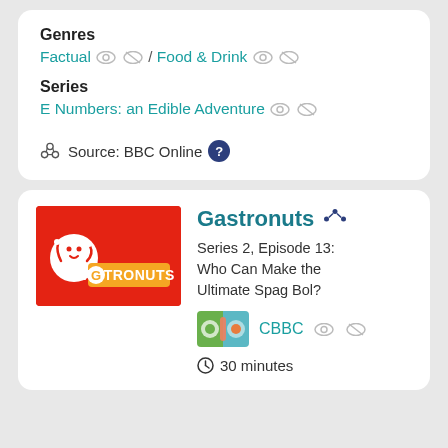Genres
Factual / Food & Drink
Series
E Numbers: an Edible Adventure
Source: BBC Online
Gastronuts
[Figure (logo): Gastronuts logo: red background with white circular character and orange GASTRONUTS text]
Series 2, Episode 13: Who Can Make the Ultimate Spag Bol?
[Figure (logo): CBBC channel logo thumbnail]
CBBC
30 minutes